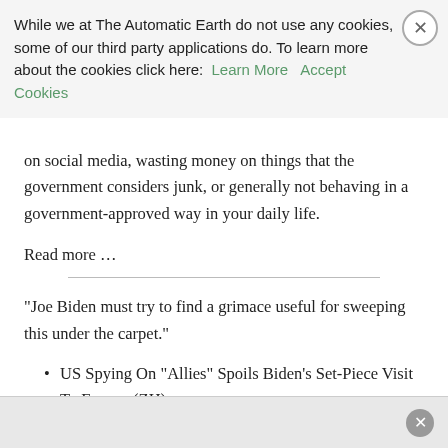While we at The Automatic Earth do not use any cookies, some of our third party applications do. To learn more about the cookies click here: Learn More  Accept Cookies
on social media, wasting money on things that the government considers junk, or generally not behaving in a government-approved way in your daily life.
Read more …
“Joe Biden must try to find a grimace useful for sweeping this under the carpet.”
US Spying On “Allies” Spoils Biden’s Set-Piece Visit To Europe (ZH)
American President Joe Biden flies to Europe next week for a series of major summits in what was being billed as a happy revival